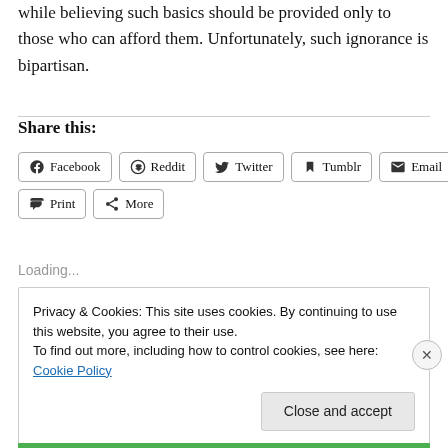while believing such basics should be provided only to those who can afford them. Unfortunately, such ignorance is bipartisan.
Share this:
Facebook Reddit Twitter Tumblr Email Print More
Loading...
Privacy & Cookies: This site uses cookies. By continuing to use this website, you agree to their use.
To find out more, including how to control cookies, see here: Cookie Policy
Close and accept